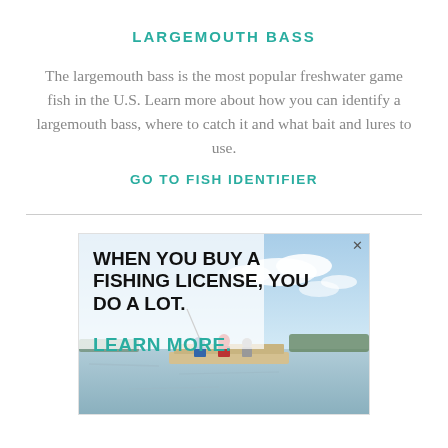LARGEMOUTH BASS
The largemouth bass is the most popular freshwater game fish in the U.S. Learn more about how you can identify a largemouth bass, where to catch it and what bait and lures to use.
GO TO FISH IDENTIFIER
[Figure (illustration): Advertisement banner: outdoor fishing scene with people on a pontoon boat on a lake. Text reads: WHEN YOU BUY A FISHING LICENSE, YOU DO A LOT. LEARN MORE.]